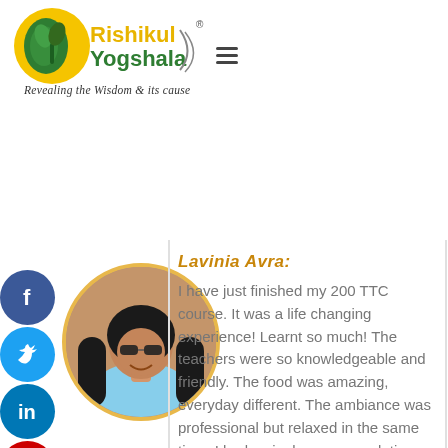[Figure (logo): Rishikul Yogshala logo with green leaf/plant symbol and yellow text, tagline: Revealing the Wisdom & its cause]
[Figure (photo): Circular profile photo of a woman with long dark hair and sunglasses, smiling]
[Figure (infographic): Social media icons sidebar: Facebook (blue), Twitter (blue), LinkedIn (blue), YouTube (red), Instagram (gradient)]
Lavinia Avra:
I have just finished my 200 TTC course. It was a life changing experience! Learnt so much! The teachers were so knowledgeable and friendly. The food was amazing, everyday different. The ambiance was professional but relaxed in the same time. I had a single accommodation and really enjoyed it, everything you need. They organized really nice excursion on days off like